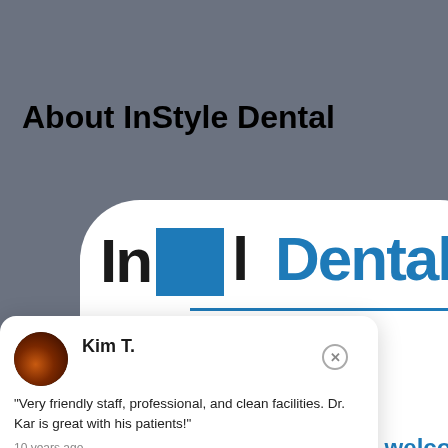About InStyle Dental
[Figure (logo): InStyle Dental logo with blue square, large 'InStyle Dental' text in blue, tagline 'ou Smile!' partially visible, on white rounded rectangle background]
Kim T.
"Very friendly staff, professional, and clean facilities. Dr. Kar is great with his patients!"
10 years ago
Set Appointment →
warm welcome